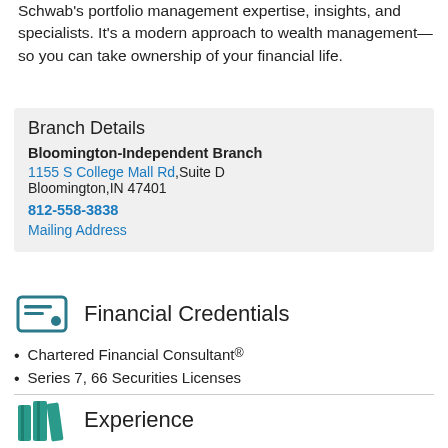Schwab's portfolio management expertise, insights, and specialists. It's a modern approach to wealth management—so you can take ownership of your financial life.
Branch Details
Bloomington-Independent Branch
1155 S College Mall Rd, Suite D
Bloomington, IN 47401
812-558-3838
Mailing Address
Financial Credentials
Chartered Financial Consultant®
Series 7, 66 Securities Licenses
Experience
25 years of professional experience
Independent Branch Financial Consultant, Charles Schwab